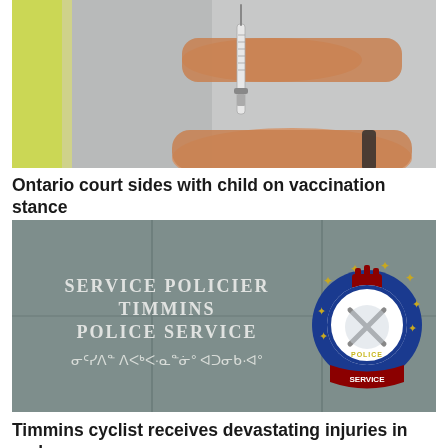[Figure (photo): Close-up photo of hands holding a syringe/needle, vaccination-related image with blurred background in yellow and grey tones]
Ontario court sides with child on vaccination stance
[Figure (photo): Photo of Timmins Police Service building exterior sign reading SERVICE POLICIER TIMMINS POLICE SERVICE in both English and Syllabics (Indigenous script), with the Timmins Police Service badge/crest on the right side]
Timmins cyclist receives devastating injuries in early